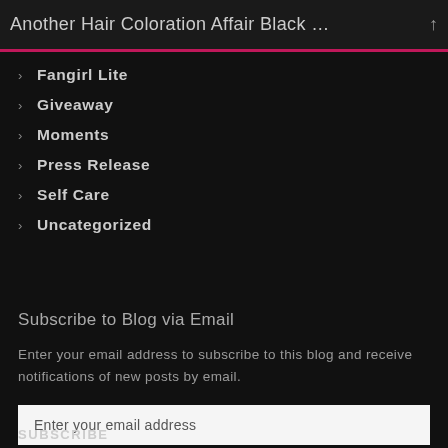Another Hair Coloration Affair Black …
Fangirl Lite
Giveaway
Moments
Press Release
Self Care
Uncategorized
Subscribe to Blog via Email
Enter your email address to subscribe to this blog and receive notifications of new posts by email.
Enter your email address
SUBSCRIBE